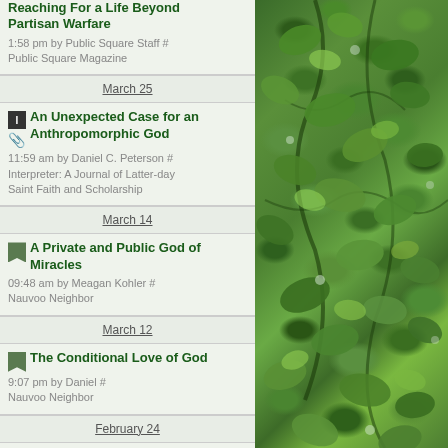Reaching For a Life Beyond Partisan Warfare
1:58 pm by Public Square Staff # Public Square Magazine
March 25
An Unexpected Case for an Anthropomorphic God
11:59 am by Daniel C. Peterson # Interpreter: A Journal of Latter-day Saint Faith and Scholarship
March 14
A Private and Public God of Miracles
09:48 am by Meagan Kohler # Nauvoo Neighbor
March 12
The Conditional Love of God
9:07 pm by Daniel # Nauvoo Neighbor
February 24
Our Earthly Fathers and the Fatherhood of God
5:22 pm by Four Corners # Public Square Magazine
January 21
[Figure (photo): Green leafy foliage/tree branches photographed from below, lush green leaves filling the frame]